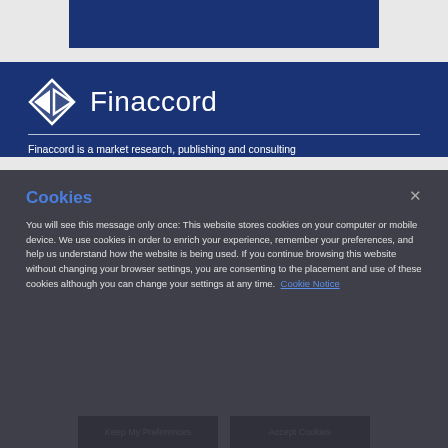[Figure (logo): Finaccord logo with diamond/arrow icon and text 'Finaccord' on dark blue background header]
Finaccord is a market research, publishing and consulting
Cookies
You will see this message only once: This website stores cookies on your computer or mobile device. We use cookies in order to enrich your experience, remember your preferences, and help us understand how the website is being used. If you continue browsing this website without changing your browser settings, you are consenting to the placement and use of these cookies although you can change your settings at any time. Cookie Notice